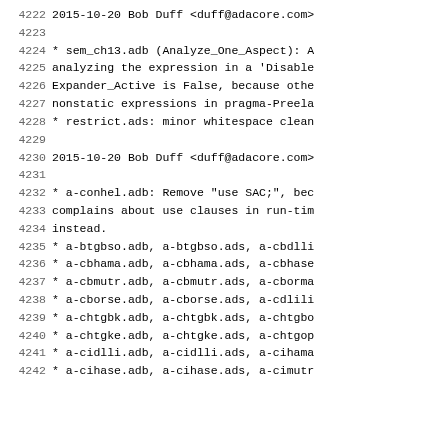4222    2015-10-20  Bob Duff  <duff@adacore.com>
4223
4224            * sem_ch13.adb (Analyze_One_Aspect): A
4225            analyzing the expression in a 'Disable
4226            Expander_Active is False, because othe
4227            nonstatic expressions in pragma-Preela
4228            * restrict.ads: minor whitespace clean
4229
4230    2015-10-20  Bob Duff  <duff@adacore.com>
4231
4232            * a-conhel.adb: Remove "use SAC;", bec
4233            complains about use clauses in run-tim
4234            instead.
4235            * a-btgbso.adb, a-btgbso.ads, a-cbdlli
4236            * a-cbhama.adb, a-cbhama.ads, a-cbhase
4237            * a-cbmutr.adb, a-cbmutr.ads, a-cborma
4238            * a-cborse.adb, a-cborse.ads, a-cdlili
4239            * a-chtgbk.adb, a-chtgbk.ads, a-chtgbo
4240            * a-chtgke.adb, a-chtgke.ads, a-chtgop
4241            * a-cidlli.adb, a-cidlli.ads, a-cihama
4242            * a-cihase.adb, a-cihase.ads, a-cimutr